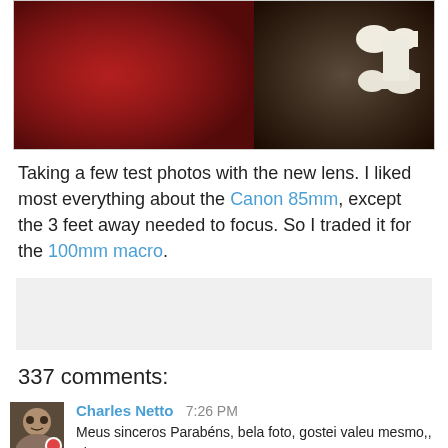[Figure (photo): Close-up photo of red fabric/cloth and a white bone-shaped object on dark background]
Taking a few test photos with the new lens. I liked most everything about the Canon 85mm, except the 3 feet away needed to focus. So I traded it for the 100mm macro.
[Figure (other): Advertisement/gray box placeholder]
337 comments:
Charles Netto 7:26 PM
Meus sinceros Parabéns, bela foto, gostei valeu mesmo,, ok
Reply
beth 4:02 PM